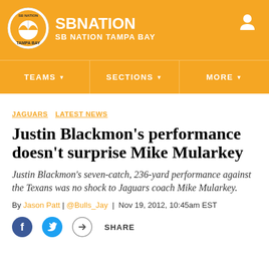SB NATION / SB NATION TAMPA BAY
JAGUARS  LATEST NEWS
Justin Blackmon's performance doesn't surprise Mike Mularkey
Justin Blackmon's seven-catch, 236-yard performance against the Texans was no shock to Jaguars coach Mike Mularkey.
By Jason Patt | @Bulls_Jay | Nov 19, 2012, 10:45am EST